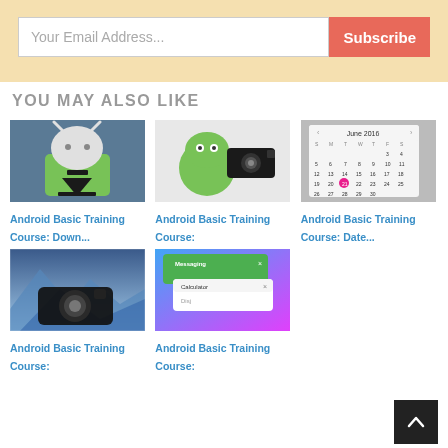[Figure (screenshot): Email subscription box with 'Your Email Address...' input and 'Subscribe' button on a beige background]
YOU MAY ALSO LIKE
[Figure (illustration): Android robot with download arrow icon]
Android Basic Training Course: Down...
[Figure (illustration): Android robot holding a video camera]
Android Basic Training Course:
[Figure (screenshot): Calendar app showing June 2016 with a pink highlighted date]
Android Basic Training Course: Date...
[Figure (photo): Camera with icy landscape background photo]
Android Basic Training Course:
[Figure (screenshot): Android messaging app with overlaid calculator dialog]
Android Basic Training Course: